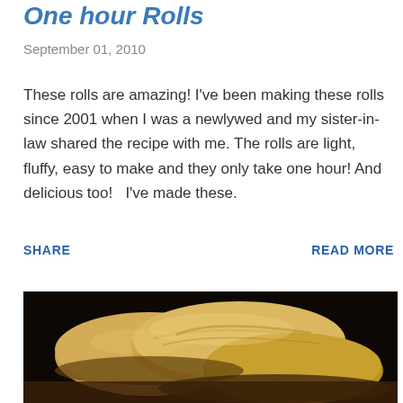One hour Rolls
September 01, 2010
These rolls are amazing!  I've been making these rolls since 2001 when I was a newlywed and my sister-in-law shared the recipe with me.  The rolls are light, fluffy, easy to make and they only take one hour!  And delicious too!   I've made these.
SHARE
READ MORE
[Figure (photo): Close-up photo of golden-brown baked dinner rolls on a dark background]